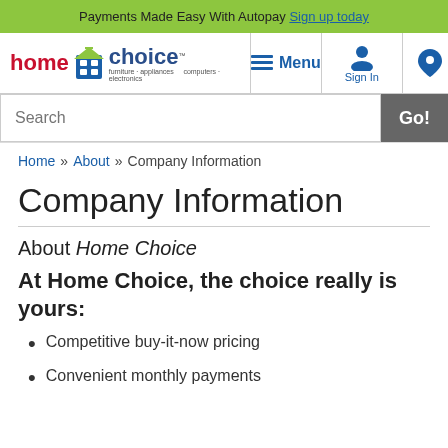Payments Made Easy With Autopay Sign up today
[Figure (logo): Home Choice logo with furniture, appliances, computers, electronics text]
Menu
Sign In
Search Go!
Home » About » Company Information
Company Information
About Home Choice
At Home Choice, the choice really is yours:
Competitive buy-it-now pricing
Convenient monthly payments